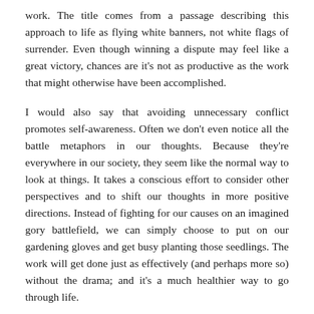work. The title comes from a passage describing this approach to life as flying white banners, not white flags of surrender. Even though winning a dispute may feel like a great victory, chances are it's not as productive as the work that might otherwise have been accomplished.
I would also say that avoiding unnecessary conflict promotes self-awareness. Often we don't even notice all the battle metaphors in our thoughts. Because they're everywhere in our society, they seem like the normal way to look at things. It takes a conscious effort to consider other perspectives and to shift our thoughts in more positive directions. Instead of fighting for our causes on an imagined gory battlefield, we can simply choose to put on our gardening gloves and get busy planting those seedlings. The work will get done just as effectively (and perhaps more so) without the drama; and it's a much healthier way to go through life.